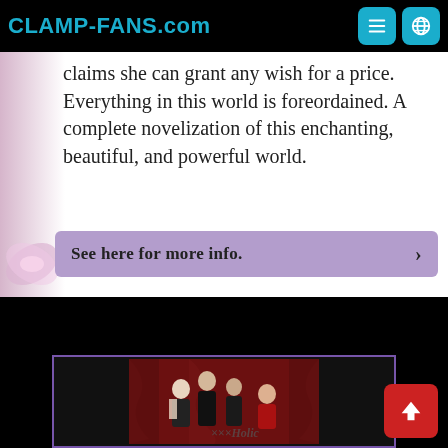CLAMP-FANS.com
claims she can grant any wish for a price. Everything in this world is foreordained. A complete novelization of this enchanting, beautiful, and powerful world.
See here for more info. ›
[Figure (photo): Group photo of four people in dark/gothic style clothing against a red ornate background, appears to be a xxxHolic related promotional image]